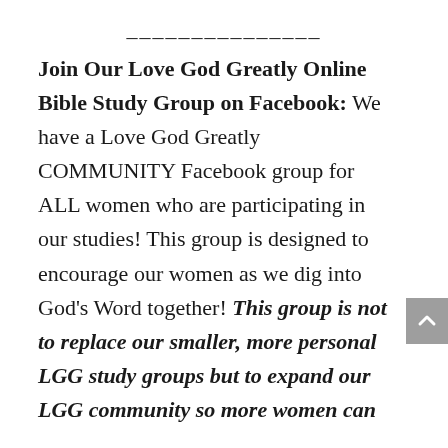_______________
Join Our Love God Greatly Online Bible Study Group on Facebook: We have a Love God Greatly COMMUNITY Facebook group for ALL women who are participating in our studies! This group is designed to encourage our women as we dig into God's Word together! This group is not to replace our smaller, more personal LGG study groups but to expand our LGG community so more women can